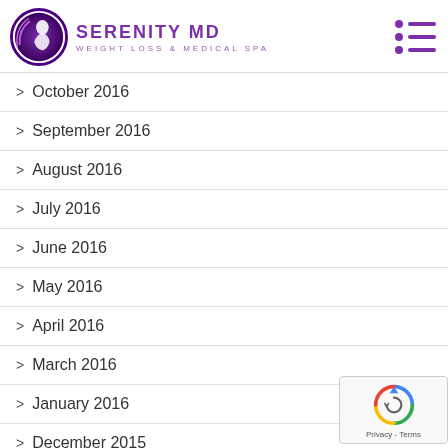[Figure (logo): Serenity MD Weight Loss & Medical Spa logo with circular purple woman silhouette icon]
October 2016
September 2016
August 2016
July 2016
June 2016
May 2016
April 2016
March 2016
January 2016
December 2015
November 2015